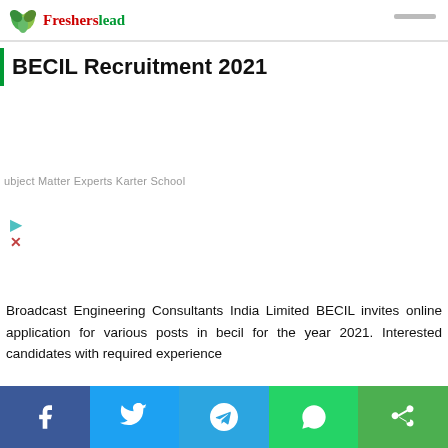Fresherslead
BECIL Recruitment 2021
[Figure (other): Advertisement banner area (blank)]
ubject Matter Experts Karter School
Broadcast Engineering Consultants India Limited BECIL invites online application for various posts in becil for the year 2021. Interested candidates with required experience
Social share bar: Facebook, Twitter, Telegram, WhatsApp, Share